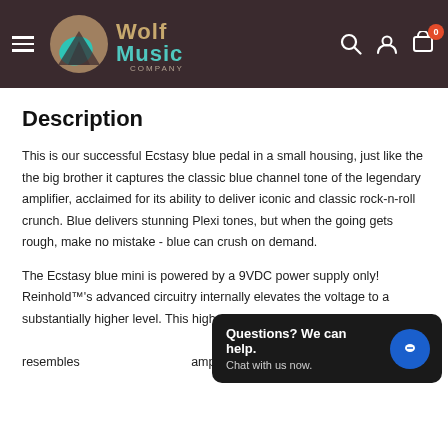Wolf Music Company
Description
This is our successful Ecstasy blue pedal in a small housing, just like the the big brother it captures the classic blue channel tone of the legendary amplifier, acclaimed for its ability to deliver iconic and classic rock-n-roll crunch. Blue delivers stunning Plexi tones, but when the going gets rough, make no mistake - blue can crush on demand.
The Ecstasy blue mini is powered by a 9VDC power supply only!  Reinhold™'s advanced circuitry internally elevates the voltage to a substantially higher level. This higher voltage creates a wide dynamic range which closely resembles the amplifier™'s legendary tube design.